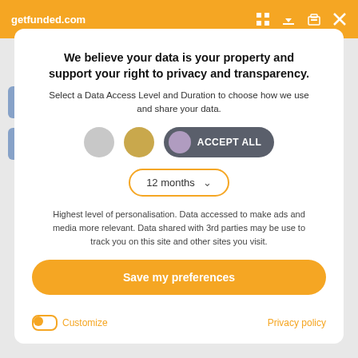getfunded.com
In a world where women have been oppressed for too long, it is time to stand up and fight for their rights and create a lifestyle. The goal of this startup is to help women all over the world to achieve their and to live their lives free from discrimination.
We believe your data is your property and support your right to privacy and transparency.
Select a Data Access Level and Duration to choose how we use and share your data.
read more
[Figure (screenshot): Row of three circles (gray, gold, purple) followed by an Accept All button with dark rounded background]
[Figure (screenshot): Dropdown selector showing '12 months' with orange border and chevron arrow]
Highest level of personalisation. Data accessed to make ads and media more relevant. Data shared with 3rd parties may be use to track you on this site and other sites you visit.
Save my preferences
Customize
Privacy policy